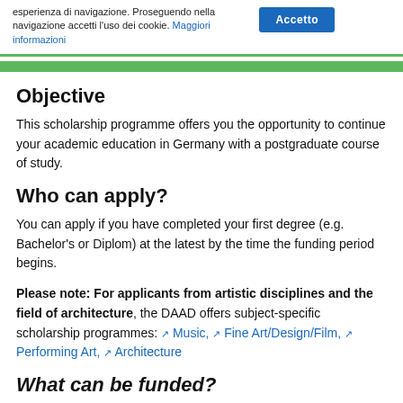esperienza di navigazione. Proseguendo nella navigazione accetti l'uso dei cookie. Maggiori informazioni
Objective
This scholarship programme offers you the opportunity to continue your academic education in Germany with a postgraduate course of study.
Who can apply?
You can apply if you have completed your first degree (e.g. Bachelor's or Diplom) at the latest by the time the funding period begins.
Please note: For applicants from artistic disciplines and the field of architecture, the DAAD offers subject-specific scholarship programmes: Music, Fine Art/Design/Film, Performing Art, Architecture
What can be funded?